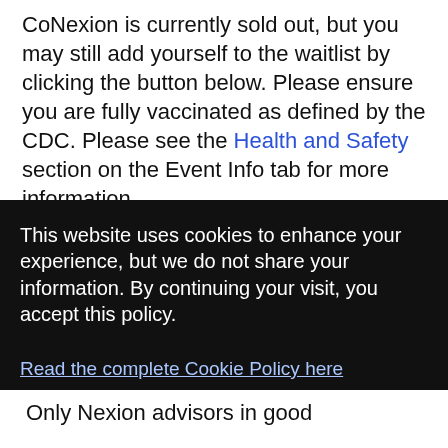CoNexion is currently sold out, but you may still add yourself to the waitlist by clicking the button below. Please ensure you are fully vaccinated as defined by the CDC. Please see the Health and Safety section on the Event Info tab for more information.
This website uses cookies to enhance your experience, but we do not share your information. By continuing your visit, you accept this policy.
Read the complete Cookie Policy here
Okay, thanks
Only Nexion advisors in good